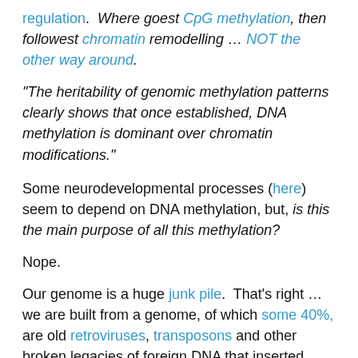regulation.  Where goest CpG methylation, then followest chromatin remodelling … NOT the other way around.
“The heritability of genomic methylation patterns clearly shows that once established, DNA methylation is dominant over chromatin modifications.”
Some neurodevelopmental processes (here) seem to depend on DNA methylation, but, is this the main purpose of all this methylation?
Nope.
Our genome is a huge junk pile.  That’s right … we are built from a genome, of which some 40%, are old retroviruses, transposons and other broken legacies of foreign DNA that inserted themselves into the genomes of our mammalian ancestors.  These ancient viruses can be